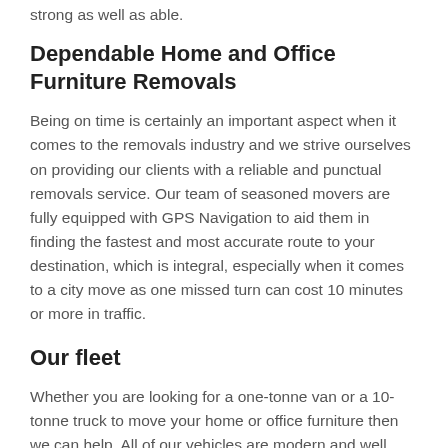strong as well as able.
Dependable Home and Office Furniture Removals
Being on time is certainly an important aspect when it comes to the removals industry and we strive ourselves on providing our clients with a reliable and punctual removals service. Our team of seasoned movers are fully equipped with GPS Navigation to aid them in finding the fastest and most accurate route to your destination, which is integral, especially when it comes to a city move as one missed turn can cost 10 minutes or more in traffic.
Our fleet
Whether you are looking for a one-tonne van or a 10-tonne truck to move your home or office furniture then we can help. All of our vehicles are modern and well equipped with removal pads, Flat Bed Dollies,